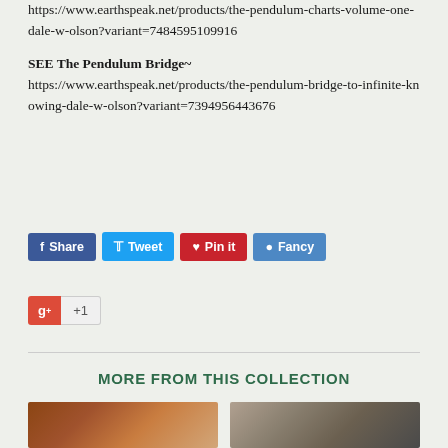https://www.earthspeak.net/products/the-pendulum-charts-volume-one-dale-w-olson?variant=7484595109916
SEE The Pendulum Bridge~ https://www.earthspeak.net/products/the-pendulum-bridge-to-infinite-knowing-dale-w-olson?variant=7394956443676
[Figure (screenshot): Social sharing buttons: Share (Facebook, blue), Tweet (Twitter, light blue), Pin it (Pinterest, red), Fancy (dark blue), and Google+ +1 button]
MORE FROM THIS COLLECTION
[Figure (photo): Thumbnail image on the left showing a brown circular/ring object]
[Figure (photo): Thumbnail image on the right showing a stone or crystal object against a sandy background]